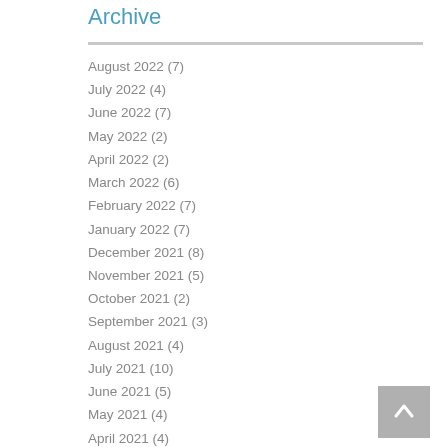Archive
August 2022 (7)
July 2022 (4)
June 2022 (7)
May 2022 (2)
April 2022 (2)
March 2022 (6)
February 2022 (7)
January 2022 (7)
December 2021 (8)
November 2021 (5)
October 2021 (2)
September 2021 (3)
August 2021 (4)
July 2021 (10)
June 2021 (5)
May 2021 (4)
April 2021 (4)
March 2021 (9)
February 2021 (5)